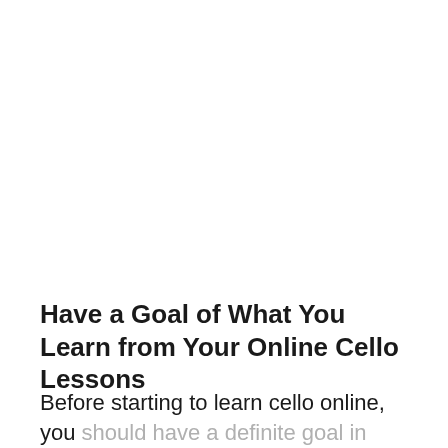Have a Goal of What You Learn from Your Online Cello Lessons
Before starting to learn cello online, you should have a definite goal in mind. What is it that you want to achieve by learning this